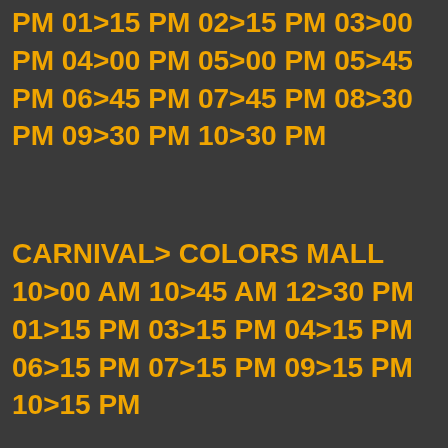PM 01>15 PM 02>15 PM 03>00 PM 04>00 PM 05>00 PM 05>45 PM 06>45 PM 07>45 PM 08>30 PM 09>30 PM 10>30 PM
CARNIVAL> COLORS MALL
10>00 AM 10>45 AM 12>30 PM 01>15 PM 03>15 PM 04>15 PM 06>15 PM 07>15 PM 09>15 PM 10>15 PM